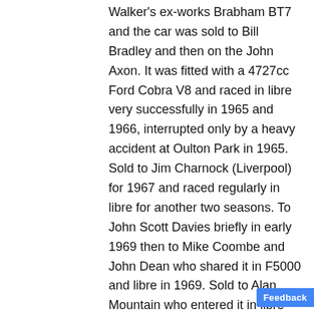Walker's ex-works Brabham BT7 and the car was sold to Bill Bradley and then on the John Axon. It was fitted with a 4727cc Ford Cobra V8 and raced in libre very successfully in 1965 and 1966, interrupted only by a heavy accident at Oulton Park in 1965. Sold to Jim Charnock (Liverpool) for 1967 and raced regularly in libre for another two seasons. To John Scott Davies briefly in early 1969 then to Mike Coombe and John Dean who shared it in F5000 and libre in 1969. Sold to Alan Mountain who entered it in libre and hillclimb events for John Lambert (York) in 1971. The engine was transferred into a Leda F5000 chassis and the rest of the car was sold to collector John McCartney. Subsequently via Jim Gleave, Howden Ganley, Hugh Edgely, Peter Bloore, Rod Tolhurst and John Harper to Anthony Mayman in early 1986. Then to Sid Hoole in 1992 and fully